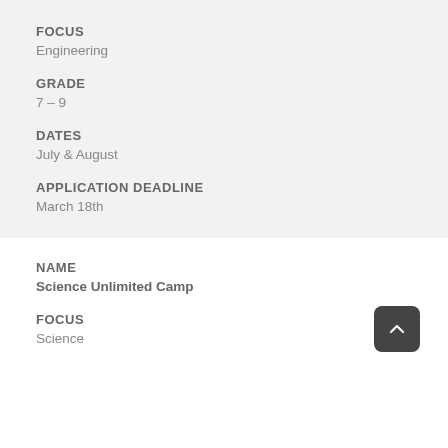FOCUS
Engineering
GRADE
7 – 9
DATES
July & August
APPLICATION DEADLINE
March 18th
NAME
Science Unlimited Camp
FOCUS
Science